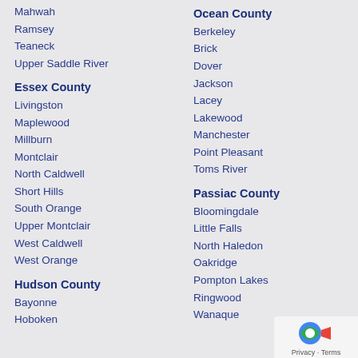Mahwah
Ramsey
Teaneck
Upper Saddle River
Essex County
Livingston
Maplewood
Millburn
Montclair
North Caldwell
Short Hills
South Orange
Upper Montclair
West Caldwell
West Orange
Hudson County
Bayonne
Hoboken
Ocean County
Berkeley
Brick
Dover
Jackson
Lacey
Lakewood
Manchester
Point Pleasant
Toms River
Passiac County
Bloomingdale
Little Falls
North Haledon
Oakridge
Pompton Lakes
Ringwood
Wanaque